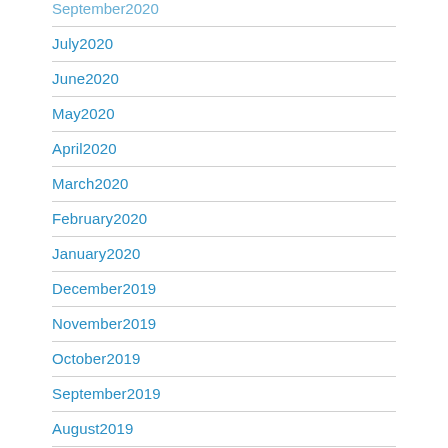September2020
July2020
June2020
May2020
April2020
March2020
February2020
January2020
December2019
November2019
October2019
September2019
August2019
July2019
June2019